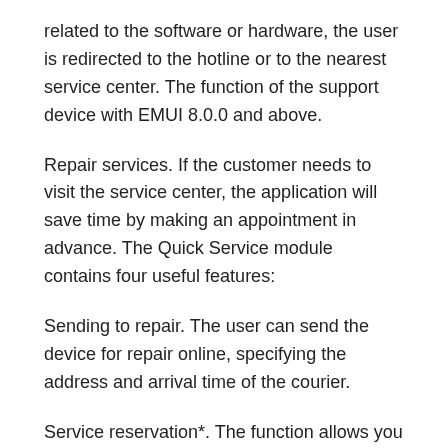related to the software or hardware, the user is redirected to the hotline or to the nearest service center. The function of the support device with EMUI 8.0.0 and above.
Repair services. If the customer needs to visit the service center, the application will save time by making an appointment in advance. The Quick Service module contains four useful features:
Sending to repair. The user can send the device for repair online, specifying the address and arrival time of the courier.
Service reservation*. The function allows you to set a time to visit the selected service center to avoid the queue.
Search service center. Helps you find the nearest Huawei certified service center.